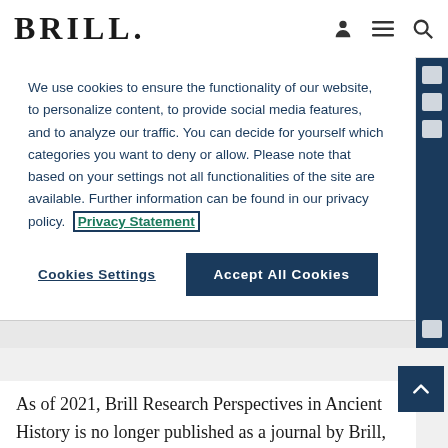BRILL
We use cookies to ensure the functionality of our website, to personalize content, to provide social media features, and to analyze our traffic. You can decide for yourself which categories you want to deny or allow. Please note that based on your settings not all functionalities of the site are available. Further information can be found in our privacy policy. Privacy Statement
Cookies Settings    Accept All Cookies
As of 2021, Brill Research Perspectives in Ancient History is no longer published as a journal by Brill, but will continue as a book series.
Brill Research Perspectives in Ancient History (RPAH) is a … review articles with
Loading [MathJax]/extensions/MathMenu.js